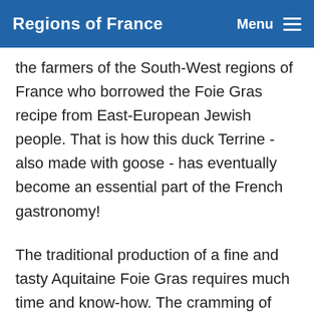Regions of France   Menu
the farmers of the South-West regions of France who borrowed the Foie Gras recipe from East-European Jewish people. That is how this duck Terrine - also made with goose - has eventually become an essential part of the French gastronomy!
The traditional production of a fine and tasty Aquitaine Foie Gras requires much time and know-how. The cramming of ducks and geese only begins during the 12th week after having bred the poultry in the open air. The cramming is